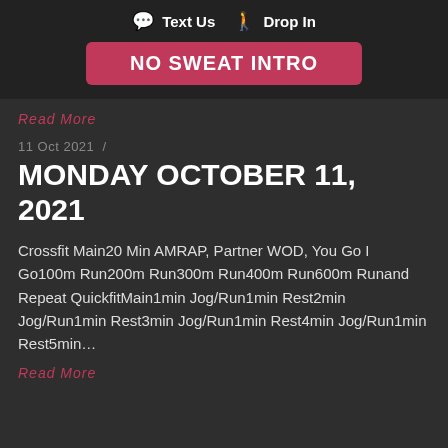Text Us  Drop In
NO SWEAT INTRO
Read More
11 Oct 2021  /
MONDAY OCTOBER 11, 2021
Crossfit Main20 Min AMRAP, Partner WOD, You Go I Go100m Run200m Run300m Run400m Run600m Runand Repeat QuickfitMain1min Jog/Run1min Rest2min Jog/Run1min Rest3min Jog/Run1min Rest4min Jog/Run1min Rest5min…
Read More